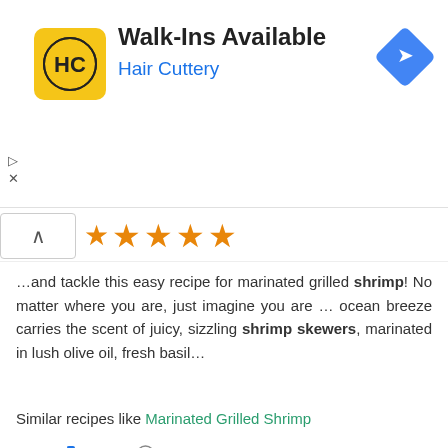[Figure (screenshot): Hair Cuttery advertisement banner with yellow square logo showing HC initials, text Walk-Ins Available and Hair Cuttery in blue, and a blue diamond arrow icon on the right]
[Figure (other): Five orange stars rating display with a chevron up button]
…and tackle this easy recipe for marinated grilled shrimp! No matter where you are, just imagine you are … ocean breeze carries the scent of juicy, sizzling shrimp skewers, marinated in lush olive oil, fresh basil…
Similar recipes like Marinated Grilled Shrimp
❤ 3   👍 121   🕐 55 min
[Figure (illustration): Green gingham/zigzag decorative divider strip]
Best salads
[Figure (photo): Colorful salad photo with tomatoes, red onions, and greens]